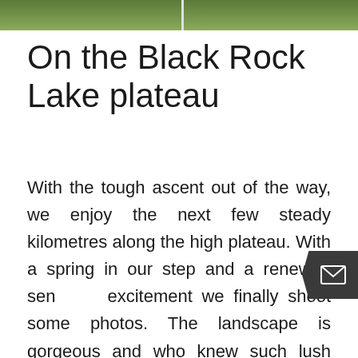[Figure (photo): Landscape photo strip at top of page showing green vegetation and rocky terrain, split into two panels by a vertical divider]
On the Black Rock Lake plateau
With the tough ascent out of the way, we enjoy the next few steady kilometres along the high plateau. With a spring in our step and a renewed sense of excitement we finally shoot some photos. The landscape is gorgeous and who knew such lush vegetation existed just shy of 3000 metres elevation. Although the sun fights a fierce battle with the fog and clouds, ultimately it never proclaims victory. It makes for some stunning